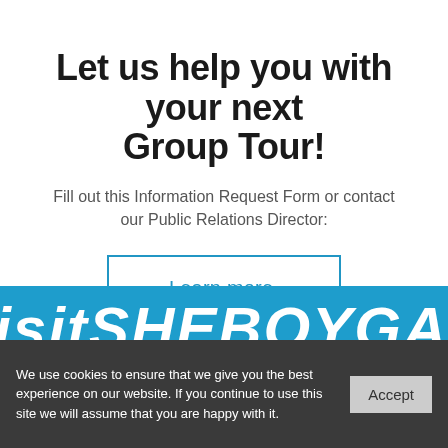Let us help you with your next Group Tour!
Fill out this Information Request Form or contact our Public Relations Director:
Learn more.
[Figure (other): Partial blue banner with large white italic bold text reading partial SHEBOYGAN logo text]
We use cookies to ensure that we give you the best experience on our website. If you continue to use this site we will assume that you are happy with it.